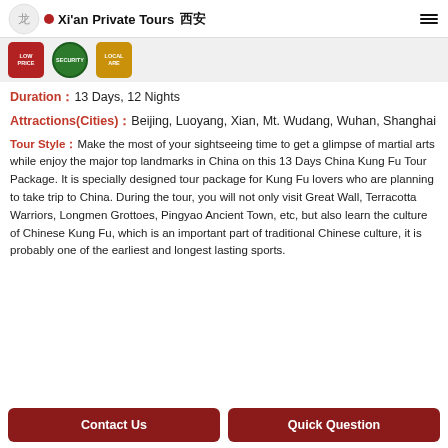Xi'an Private Tours
[Figure (logo): Three badge icons: Low Price (red), Security (green), Local Are (gold/yellow)]
Duration：13 Days, 12 Nights
Attractions(Cities)：Beijing, Luoyang, Xian, Mt. Wudang, Wuhan, Shanghai
Tour Style：Make the most of your sightseeing time to get a glimpse of martial arts while enjoy the major top landmarks in China on this 13 Days China Kung Fu Tour Package. It is specially designed tour package for Kung Fu lovers who are planning to take trip to China. During the tour, you will not only visit Great Wall, Terracotta Warriors, Longmen Grottoes, Pingyao Ancient Town, etc, but also learn the culture of Chinese Kung Fu, which is an important part of traditional Chinese culture, it is probably one of the earliest and longest lasting sports.
Contact Us
Quick Question